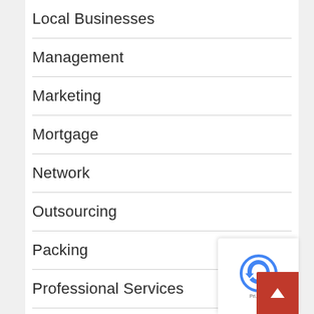Local Businesses
Management
Marketing
Mortgage
Network
Outsourcing
Packing
Professional Services
Public Relations